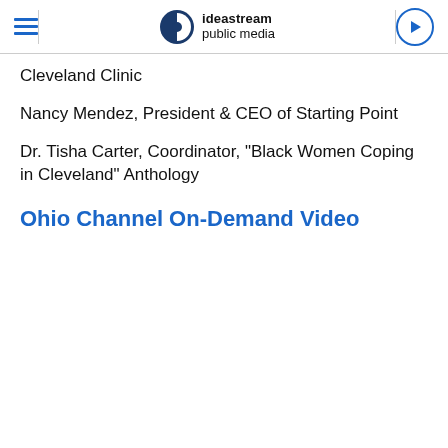ideastream public media
Cleveland Clinic
Nancy Mendez, President & CEO of Starting Point
Dr. Tisha Carter, Coordinator, "Black Women Coping in Cleveland" Anthology
Ohio Channel On-Demand Video